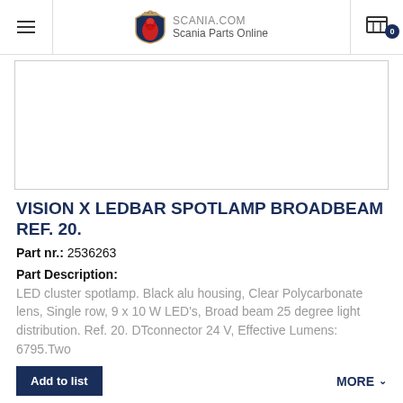SCANIA.COM Scania Parts Online
[Figure (photo): Product image area — white rectangle with border, appears blank/loading]
VISION X LEDBAR SPOTLAMP BROADBEAM REF. 20.
Part nr.: 2536263
Part Description:
LED cluster spotlamp. Black alu housing, Clear Polycarbonate lens, Single row, 9 x 10 W LED's, Broad beam 25 degree light distribution. Ref. 20. DTconnector 24 V, Effective Lumens: 6795.Two